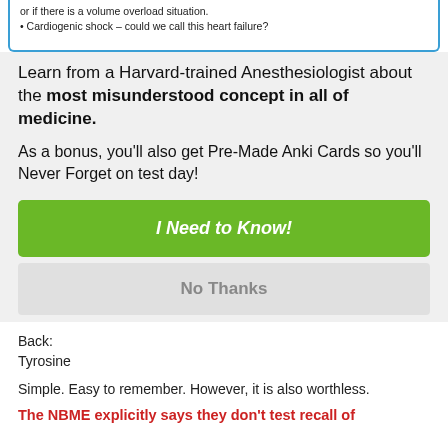or if there is a volume overload situation.
Cardiogenic shock – could we call this heart failure?
Learn from a Harvard-trained Anesthesiologist about the most misunderstood concept in all of medicine.
As a bonus, you'll also get Pre-Made Anki Cards so you'll Never Forget on test day!
I Need to Know!
No Thanks
Back:
Tyrosine
Simple. Easy to remember. However, it is also worthless.
The NBME explicitly says they don't test recall of